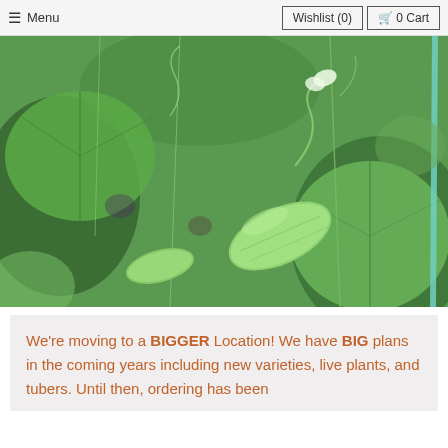≡ Menu   Wishlist (0)   🛒 0 Cart
[Figure (photo): Close-up photo of green pea pods growing on a vine with large green leaves in the background]
We're moving to a BIGGER Location! We have BIG plans in the coming years including new varieties, live plants, and tubers. Until then, ordering has been